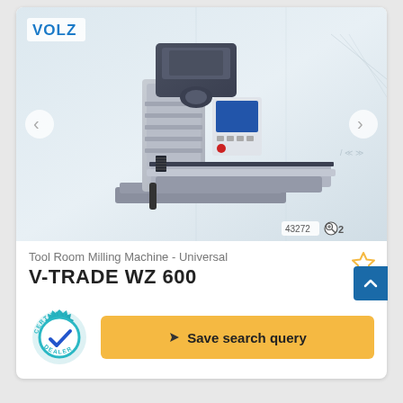[Figure (photo): Photograph of a VOLZ Tool Room Milling Machine - Universal V-TRADE WZ 600, shown in a light industrial setting. The machine is gray and dark blue/charcoal colored with a large worktable and vertical milling head. VOLZ logo visible in upper-left of image. Navigation arrows on left and right sides. Image counter showing 43272 and zoom icon with '2' in lower right corner.]
Tool Room Milling Machine - Universal
V-TRADE  WZ 600
[Figure (logo): Certified Dealer badge - circular teal/cyan gear badge with 'CERTIFIED' on top arc, 'DEALER' on bottom arc, and a blue checkmark in the center]
Save search query